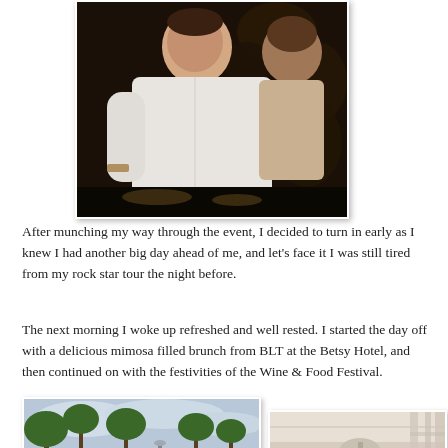[Figure (photo): Photo of a person in a white shirt at an event with dark floral background]
After munching my way through the event, I decided to turn in early as I knew I had another big day ahead of me, and let's face it I was still tired from my rock star tour the night before.
The next morning I woke up refreshed and well rested. I started the day off with a delicious mimosa filled brunch from BLT at the Betsy Hotel, and then continued on with the festivities of the Wine & Food Festival.
[Figure (photo): Two women standing outdoors with palm trees in background, one wearing yellow jacket]
[Figure (photo): Woman wearing sunglasses at outdoor restaurant or patio event]